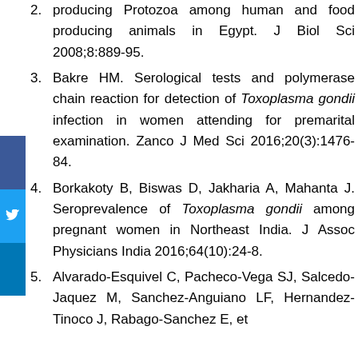2. Sabry MA, Roda WW. Infection by cyst producing Protozoa among human and food producing animals in Egypt. J Biol Sci 2008;8:889-95.
3. Bakre HM. Serological tests and polymerase chain reaction for detection of Toxoplasma gondii infection in women attending for premarital examination. Zanco J Med Sci 2016;20(3):1476-84.
4. Borkakoty B, Biswas D, Jakharia A, Mahanta J. Seroprevalence of Toxoplasma gondii among pregnant women in Northeast India. J Assoc Physicians India 2016;64(10):24-8.
5. Alvarado-Esquivel C, Pacheco-Vega SJ, Salcedo-Jaquez M, Sanchez-Anguiano LF, Hernandez-Tinoco J, Rabago-Sanchez E, et